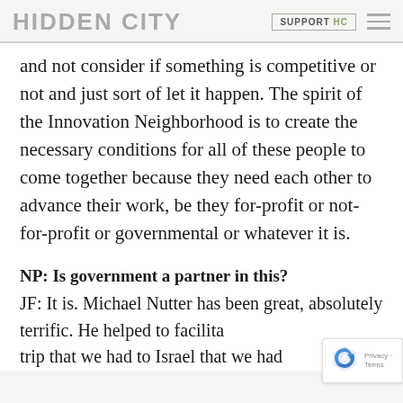HIDDEN CITY | SUPPORT HC
and not consider if something is competitive or not and just sort of let it happen. The spirit of the Innovation Neighborhood is to create the necessary conditions for all of these people to come together because they need each other to advance their work, be they for-profit or not-for-profit or governmental or whatever it is.
NP: Is government a partner in this?
JF: It is. Michael Nutter has been great, absolutely terrific. He helped to facilita— trip that we had to Israel that we had...